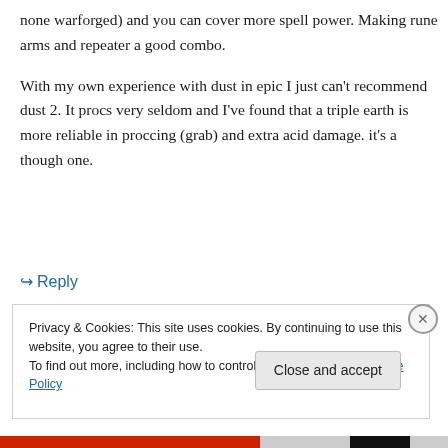none warforged) and you can cover more spell power. Making rune arms and repeater a good combo.
With my own experience with dust in epic I just can’t recommend dust 2. It procs very seldom and I’ve found that a triple earth is more reliable in proccing (grab) and extra acid damage. it’s a though one.
↪ Reply
Privacy & Cookies: This site uses cookies. By continuing to use this website, you agree to their use.
To find out more, including how to control cookies, see here: Cookie Policy
Close and accept